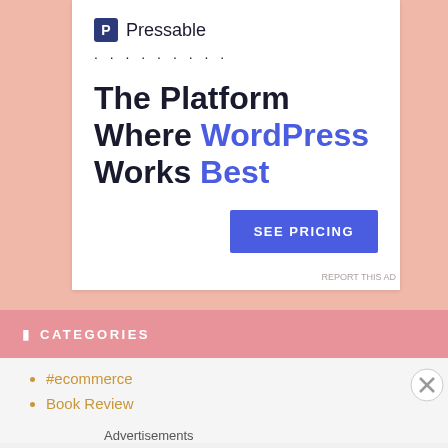[Figure (screenshot): Pressable advertisement card on salmon/pink background. Shows Pressable logo, dotted line, headline 'The Platform Where WordPress Works Best', and a blue 'SEE PRICING' button.]
CATEGORIES
#ecommerce
Book Review
Advertisements